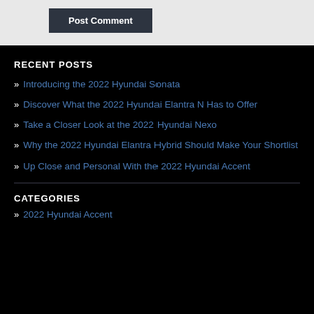Post Comment
RECENT POSTS
Introducing the 2022 Hyundai Sonata
Discover What the 2022 Hyundai Elantra N Has to Offer
Take a Closer Look at the 2022 Hyundai Nexo
Why the 2022 Hyundai Elantra Hybrid Should Make Your Shortlist
Up Close and Personal With the 2022 Hyundai Accent
CATEGORIES
2022 Hyundai Accent